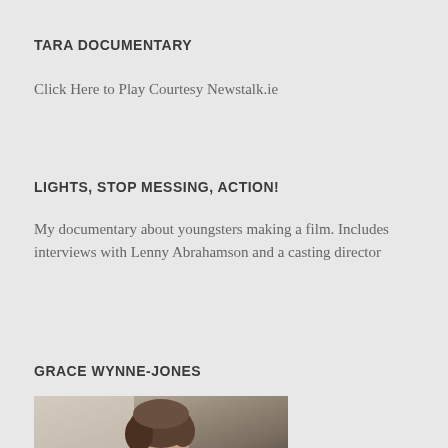TARA DOCUMENTARY
Click Here to Play Courtesy Newstalk.ie
LIGHTS, STOP MESSING, ACTION!
My documentary about youngsters making a film. Includes interviews with Lenny Abrahamson and a casting director
GRACE WYNNE-JONES
[Figure (photo): Portrait photo of Grace Wynne-Jones, a woman with medium-length brown hair wearing a dark jacket]